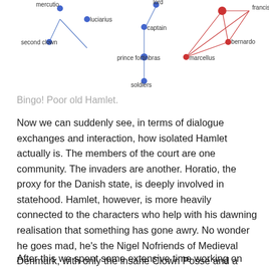[Figure (network-graph): A network graph showing character relationships in Hamlet. Blue nodes include: second clown, luciarius, lord, captain, prince fortinbras, soldiers. Red nodes include: francisco, bernardo, marcellus. Edges in red connect the right-side cluster; blue edges connect left and center nodes.]
Bingo! Poor old Hamlet.
Now we can suddenly see, in terms of dialogue exchanges and interaction, how isolated Hamlet actually is. The members of the court are one community. The invaders are another. Horatio, the proxy for the Danish state, is deeply involved in statehood. Hamlet, however, is more heavily connected to the characters who help with his dawning realisation that something has gone awry. No wonder he goes mad, he's the Nigel Nofriends of Medieval Denmark, with only the insane Clown Posse and a group of second-rate actors to keep him company.
After this we spent some extensive time working on